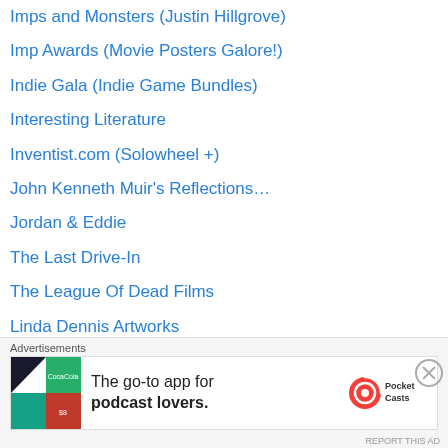Imps and Monsters (Justin Hillgrove)
Imp Awards (Movie Posters Galore!)
Indie Gala (Indie Game Bundles)
Interesting Literature
Inventist.com (Solowheel +)
John Kenneth Muir's Reflections…
Jordan & Eddie
The Last Drive-In
The League Of Dead Films
Linda Dennis Artworks
Lindsay's Movie Musings
Mad Catz (Peripherals Galore!)
Mezco Toyz
mimoco (Cool USB Drives!)
Movies, Silently
NCSX (More Import Games+)
[Figure (screenshot): Advertisement banner for Pocket Casts app: 'The go-to app for podcast lovers.' with Pocket Casts logo and colorful app icon]